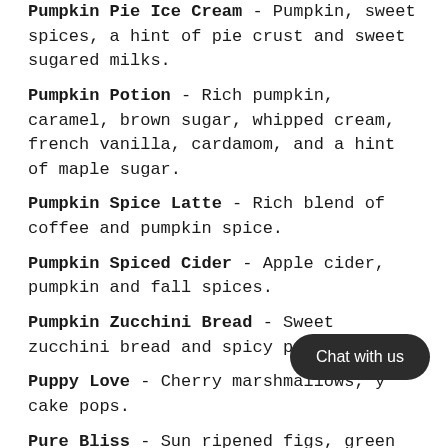Pumpkin Pie Ice Cream - Pumpkin, sweet spices, a hint of pie crust and sweet sugared milks.
Pumpkin Potion - Rich pumpkin, caramel, brown sugar, whipped cream, french vanilla, cardamom, and a hint of maple sugar.
Pumpkin Spice Latte - Rich blend of coffee and pumpkin spice.
Pumpkin Spiced Cider - Apple cider, pumpkin and fall spices.
Pumpkin Zucchini Bread - Sweet zucchini bread and spicy pumpkin.
Puppy Love - Cherry marshmallows, y cake pops.
Pure Bliss - Sun ripened figs, green apples, and light